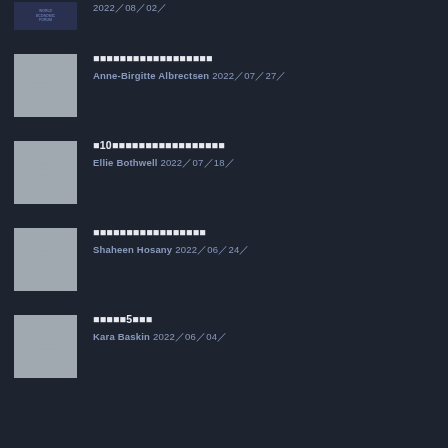2022 08 02 
■■■■■■■■■■■■■■■■ Anne-Birgitte Albrectsen 2022 07 27 
 10■■■■■■■■■■■■■■■ Ellie Bothwell 2022 07 18 
■■■■■■■■■■■■■■■■ Shaheen Hosany 2022 06 24 
■■■■5■■■ Kara Baskin 2022 06 04 